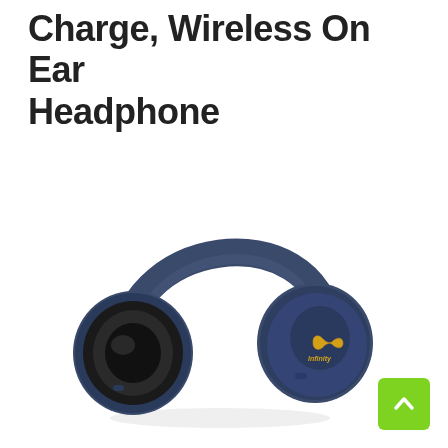Charge, Wireless On Ear Headphone
[Figure (photo): Navy blue Infinity branded wireless on-ear headphone with black ear cushions and gold Infinity logo on the right ear cup, shown at an angle on white background.]
[Figure (other): Green back-to-top button with upward chevron arrow in bottom right corner.]